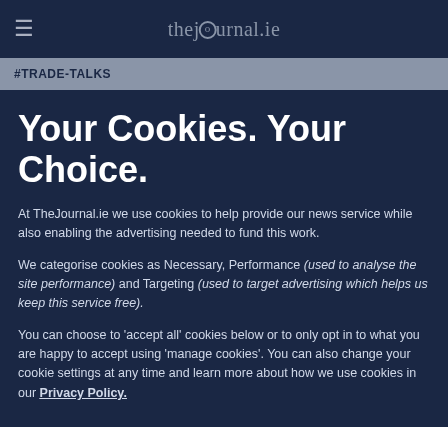thejournal.ie
#TRADE-TALKS
Your Cookies. Your Choice.
At TheJournal.ie we use cookies to help provide our news service while also enabling the advertising needed to fund this work.
We categorise cookies as Necessary, Performance (used to analyse the site performance) and Targeting (used to target advertising which helps us keep this service free).
You can choose to 'accept all' cookies below or to only opt in to what you are happy to accept using 'manage cookies'. You can also change your cookie settings at any time and learn more about how we use cookies in our Privacy Policy.